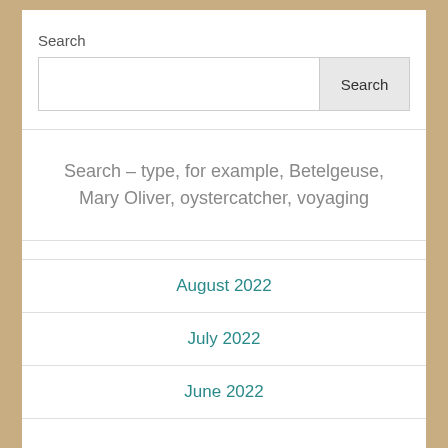Search
[Figure (other): Search input box with a Search button]
Search – type, for example, Betelgeuse, Mary Oliver, oystercatcher, voyaging
August 2022
July 2022
June 2022